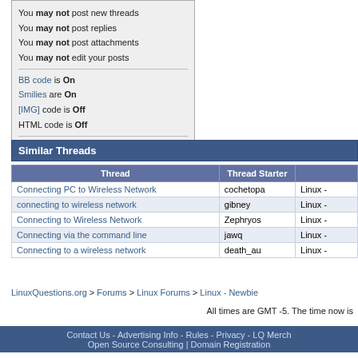You may not post new threads
You may not post replies
You may not post attachments
You may not edit your posts
BB code is On
Smilies are On
[IMG] code is Off
HTML code is Off
Forum Rules
Similar Threads
| Thread | Thread Starter |  |
| --- | --- | --- |
| Connecting PC to Wireless Network | cochetopa | Linux - |
| connecting to wireless network | gibney | Linux - |
| Connecting to Wireless Network | Zephryos | Linux - |
| Connecting via the command line | jawq | Linux - |
| Connecting to a wireless network | death_au | Linux - |
LinuxQuestions.org > Forums > Linux Forums > Linux - Newbie
All times are GMT -5. The time now is
Contact Us - Advertising Info - Rules - Privacy - LQ Merch | Open Source Consulting | Domain Registration